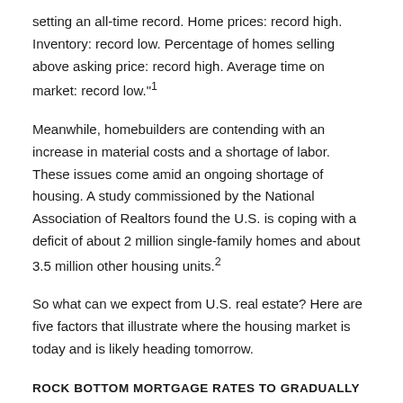setting an all-time record. Home prices: record high. Inventory: record low. Percentage of homes selling above asking price: record high. Average time on market: record low.¹
Meanwhile, homebuilders are contending with an increase in material costs and a shortage of labor. These issues come amid an ongoing shortage of housing. A study commissioned by the National Association of Realtors found the U.S. is coping with a deficit of about 2 million single-family homes and about 3.5 million other housing units.²
So what can we expect from U.S. real estate? Here are five factors that illustrate where the housing market is today and is likely heading tomorrow.
ROCK BOTTOM MORTGAGE RATES TO GRADUALLY